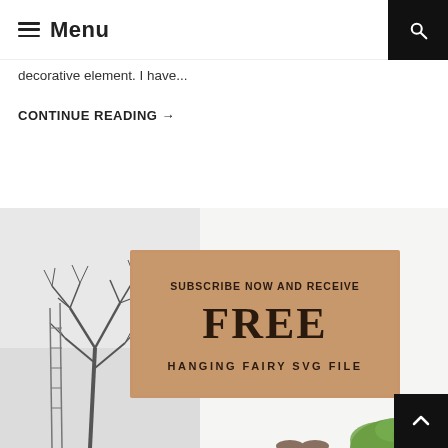≡ Menu
decorative element. I have...
CONTINUE READING →
[Figure (illustration): Promotional banner showing a winter scene with a bare tree sketch on the left and a tan/kraft paper card on the right reading 'SUBSCRIBE NOW AND RECEIVE FREE HANGING FAIRY SVG FILE'. Green plant visible at bottom right.]